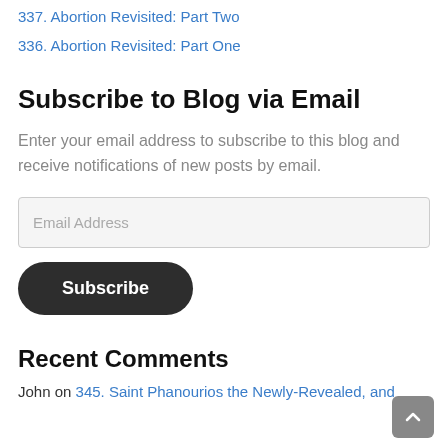337. Abortion Revisited: Part Two
336. Abortion Revisited: Part One
Subscribe to Blog via Email
Enter your email address to subscribe to this blog and receive notifications of new posts by email.
Email Address
Subscribe
Recent Comments
John on 345. Saint Phanourios the Newly-Revealed, and